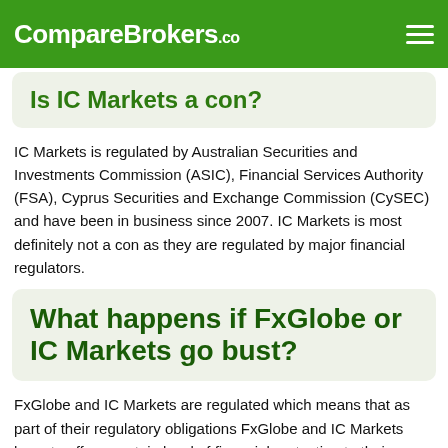CompareBrokers.co
Is IC Markets a con?
IC Markets is regulated by Australian Securities and Investments Commission (ASIC), Financial Services Authority (FSA), Cyprus Securities and Exchange Commission (CySEC) and have been in business since 2007. IC Markets is most definitely not a con as they are regulated by major financial regulators.
What happens if FxGlobe or IC Markets go bust?
FxGlobe and IC Markets are regulated which means that as part of their regulatory obligations FxGlobe and IC Markets have to offer a certain level of financial protection to their